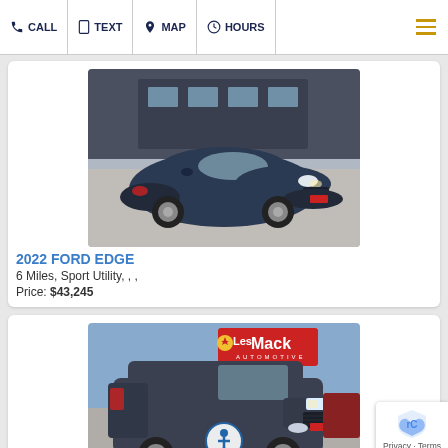CALL  TEXT  MAP  HOURS
[Figure (photo): 2022 Ford Edge SUV in dark blue/gray, front three-quarter view, parked in front of a dealership building]
2022 FORD EDGE
6 Miles, Sport Utility, , ,
Price: $43,245
[Figure (photo): Dark gray SUV (Ford Explorer) parked at Les Mack Automotive dealership, front three-quarter view, with accessibility icon overlay and Privacy/Terms badge]